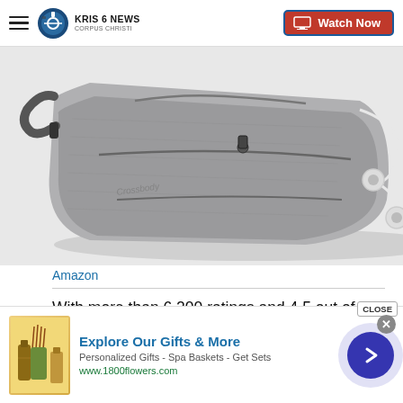KRIS 6 NEWS CORPUS CHRISTI | Watch Now
[Figure (photo): Gray fabric fanny pack / crossbody bag with zipper pockets, shown at an angle with white earphones/headphones resting beside it on a white background]
Amazon
With more than 6,200 ratings and 4.5 out of 5 stars, this is a popular fanny pack on Amazon. It has six zippered pockets including two hidden ones, plus a tethered key clip and a headphone hole. Although it's compact, it's large enough to hold a small water bottle or umbrella. An extension strap allows the perfect
[Figure (infographic): Advertisement banner for 1800flowers.com - Explore Our Gifts & More. Personalized Gifts - Spa Baskets - Get Sets. Shows gift products image on left and navigation arrow button on right.]